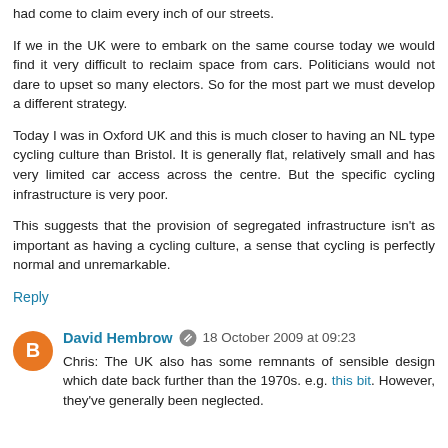had come to claim every inch of our streets.
If we in the UK were to embark on the same course today we would find it very difficult to reclaim space from cars. Politicians would not dare to upset so many electors. So for the most part we must develop a different strategy.
Today I was in Oxford UK and this is much closer to having an NL type cycling culture than Bristol. It is generally flat, relatively small and has very limited car access across the centre. But the specific cycling infrastructure is very poor.
This suggests that the provision of segregated infrastructure isn't as important as having a cycling culture, a sense that cycling is perfectly normal and unremarkable.
Reply
David Hembrow  18 October 2009 at 09:23
Chris: The UK also has some remnants of sensible design which date back further than the 1970s. e.g. this bit. However, they've generally been neglected.